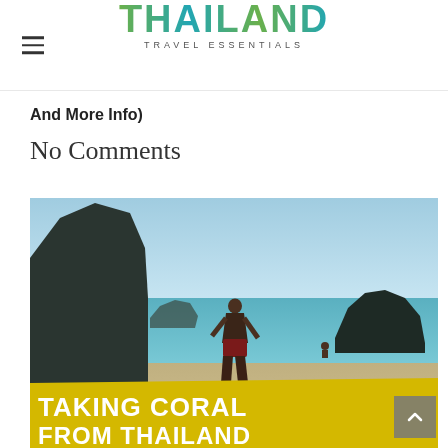THAILAND TRAVEL ESSENTIALS
And More Info)
No Comments
[Figure (photo): A person standing on a beach in Thailand looking out at turquoise water with limestone islands in the background. Bottom of image has a yellow banner with text 'TAKING CORAL FROM THAILAND']